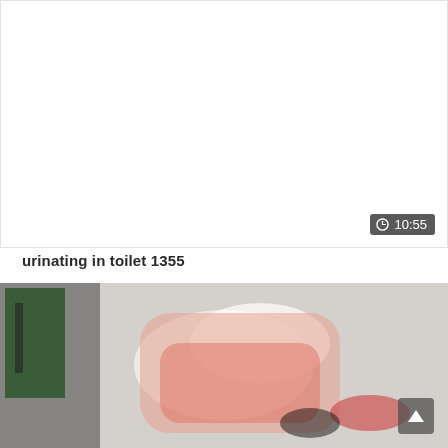[Figure (screenshot): Video thumbnail placeholder - white/blank area with a duration badge showing a clock icon and '10:55' in bottom right corner]
urinating in toilet 1355
[Figure (screenshot): Video thumbnail showing a person lying down wearing red/pink clothing, with a scroll-to-top button in the bottom right corner]